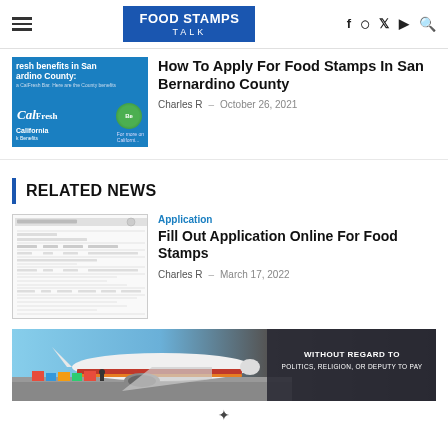FOOD STAMPS TALK
How To Apply For Food Stamps In San Bernardino County
Charles R  -  October 26, 2021
RELATED NEWS
Application
Fill Out Application Online For Food Stamps
Charles R  -  March 17, 2022
[Figure (photo): Advertisement banner showing an airplane being loaded with cargo, with text 'WITHOUT REGARD TO POLITICS, RELIGION, OR DEPUTY TO PAY']